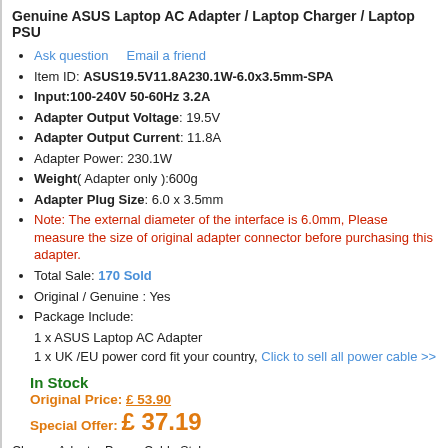Genuine ASUS Laptop AC Adapter / Laptop Charger / Laptop PSU
Ask question   Email a friend
Item ID: ASUS19.5V11.8A230.1W-6.0x3.5mm-SPA
Input:100-240V 50-60Hz 3.2A
Adapter Output Voltage: 19.5V
Adapter Output Current: 11.8A
Adapter Power: 230.1W
Weight( Adapter only ):600g
Adapter Plug Size: 6.0 x 3.5mm
Note: The external diameter of the interface is 6.0mm, Please measure the size of original adapter connector before purchasing this adapter.
Total Sale: 170 Sold
Original / Genuine : Yes
Package Include:
1 x ASUS Laptop AC Adapter
1 x UK /EU power cord fit your country, Click to sell all power cable >>
In Stock
Original Price: £53.90
Special Offer: £ 37.19
Choose Adapter Power Cable Style
Your Machine Model: